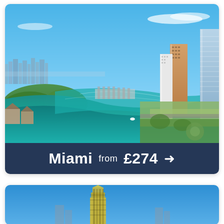[Figure (photo): Aerial photo of Miami city and Biscayne Bay with skyline, waterways, marinas, and modern high-rise buildings under a blue sky with light clouds.]
Miami  from  £274  →
[Figure (photo): Partial view of another destination photo showing a tall building against a clear blue sky, cropped at the bottom of the page.]